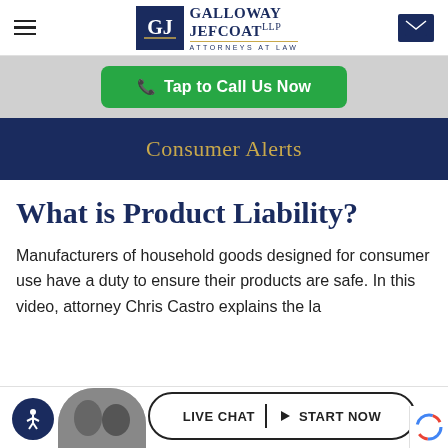Galloway Jefcoat, LLP - Attorneys at Law
Tap to Call Us Now
Consumer Alerts
What is Product Liability?
Manufacturers of household goods designed for consumer use have a duty to ensure their products are safe. In this video, attorney Chris Castro explains the la...